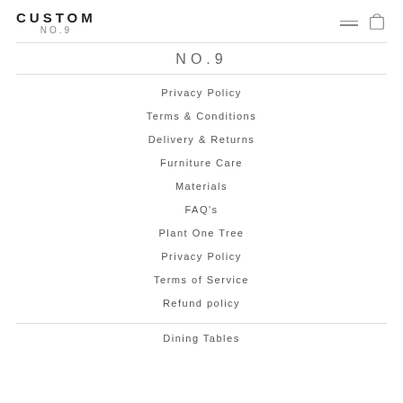CUSTOM NO.9
NO.9
Privacy Policy
Terms & Conditions
Delivery & Returns
Furniture Care
Materials
FAQ's
Plant One Tree
Privacy Policy
Terms of Service
Refund policy
Dining Tables